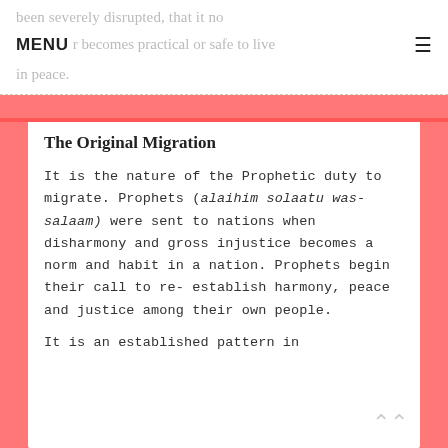been severely disrupted, that it no longer becomes practical or safe to live in peace.
The Original Migration
It is the nature of the Prophetic duty to migrate. Prophets (alaihim solaatu was-salaam) were sent to nations when disharmony and gross injustice becomes a norm and habit in a nation. Prophets begin their call to re-establish harmony, peace and justice among their own people.
It is an established pattern in